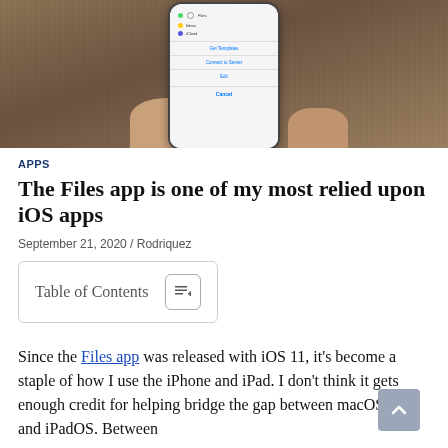[Figure (photo): A hand holding an iPhone displaying a share/action sheet menu with colored dots and menu options including 'Get Templates', 'Connect to Server', 'Edit', and 'Cancel', against a wooden background.]
APPS
The Files app is one of my most relied upon iOS apps
September 21, 2020  /  Rodriquez
Table of Contents
Since the Files app was released with iOS 11, it's become a staple of how I use the iPhone and iPad. I don't think it gets enough credit for helping bridge the gap between macOS, iOS, and iPadOS. Between